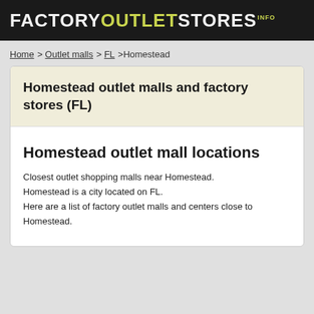FACTORYOUTLETSTORES.INFO
Home > Outlet malls > FL > Homestead
Homestead outlet malls and factory stores (FL)
Homestead outlet mall locations
Closest outlet shopping malls near Homestead. Homestead is a city located on FL. Here are a list of factory outlet malls and centers close to Homestead.